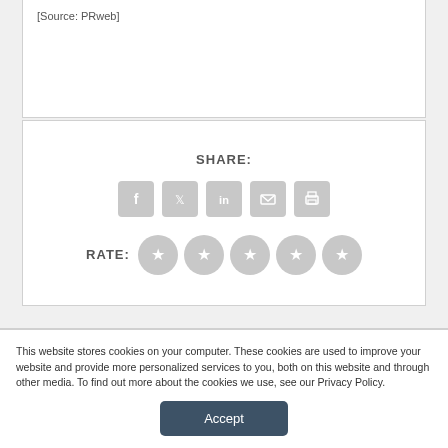[Source: PRweb]
[Figure (infographic): Share section with social media icons (Facebook, Twitter, LinkedIn, Email, Print) and a 5-star rating row]
This website stores cookies on your computer. These cookies are used to improve your website and provide more personalized services to you, both on this website and through other media. To find out more about the cookies we use, see our Privacy Policy.
Accept